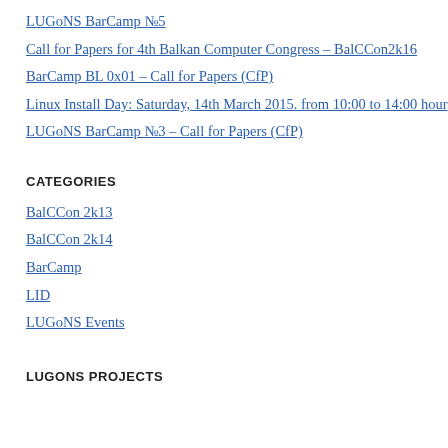LUGoNS BarCamp №5
Call for Papers for 4th Balkan Computer Congress – BalCCon2k16
BarCamp BL 0x01 – Call for Papers (CfP)
Linux Install Day: Saturday, 14th March 2015. from 10:00 to 14:00 hour
LUGoNS BarCamp №3 – Call for Papers (CfP)
CATEGORIES
BalCCon 2k13
BalCCon 2k14
BarCamp
LID
LUGoNS Events
LUGONS PROJECTS